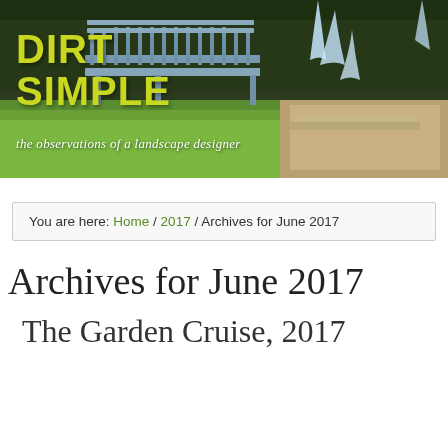[Figure (photo): Header photo of a garden with a metal bench, green lawn, fountain water features, and hedges/trees in background. Overlaid with blog title 'DIRT SIMPLE' in yellow-green and subtitle 'the observations of a landscape designer' in white cursive script.]
You are here: Home / 2017 / Archives for June 2017
Archives for June 2017
The Garden Cruise, 2017